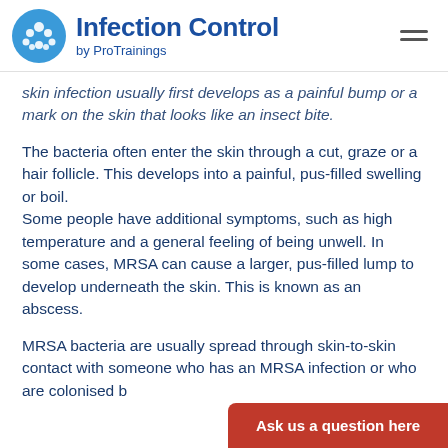Infection Control by ProTrainings
skin infection usually first develops as a painful bump or a mark on the skin that looks like an insect bite.
The bacteria often enter the skin through a cut, graze or a hair follicle. This develops into a painful, pus-filled swelling or boil. Some people have additional symptoms, such as high temperature and a general feeling of being unwell. In some cases, MRSA can cause a larger, pus-filled lump to develop underneath the skin. This is known as an abscess.
MRSA bacteria are usually spread through skin-to-skin contact with someone who has an MRSA infection or who are colonised b…